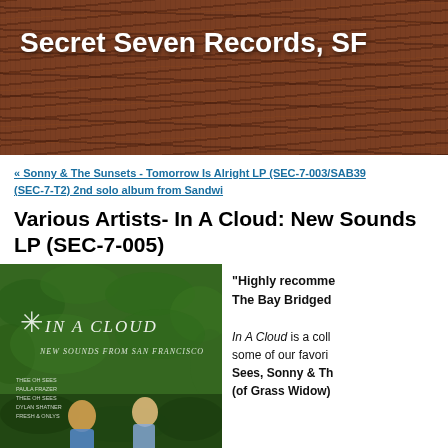Secret Seven Records, SF
« Sonny & The Sunsets - Tomorrow Is Alright LP (SEC-7-003/SAB39 (SEC-7-T2) 2nd solo album from Sandwi
Various Artists- In A Cloud: New Sounds LP (SEC-7-005)
[Figure (photo): Album cover for 'In A Cloud: New Sounds from San Francisco' showing two children from behind standing in green foliage with handwritten text overlay]
"Highly recomme The Bay Bridged

In A Cloud is a coll some of our favori Sees, Sonny & Th (of Grass Widow)